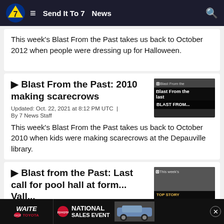Send It To 7  News
This week's Blast From the Past takes us back to October 2012 when people were dressing up for Halloween.
Blast From the Past: 2010 making scarecrows
Updated: Oct. 22, 2021 at 8:12 PM UTC  |  By 7 News Staff
This week's Blast From the Past takes us back to October 2010 when kids were making scarecrows at the Depauville library.
Blast from the Past: Last call for pool hall at form... Vall...
[Figure (screenshot): Thumbnail image with 'Blast From the' and 'BLAST FROM...' overlay text]
[Figure (screenshot): Thumbnail image with 'This week's' and 'TOP STORY' label and 'Blast From the Past takes us' text]
[Figure (screenshot): Ad banner: WAITE TOYOTA - NATIONAL SALES EVENT with car image]